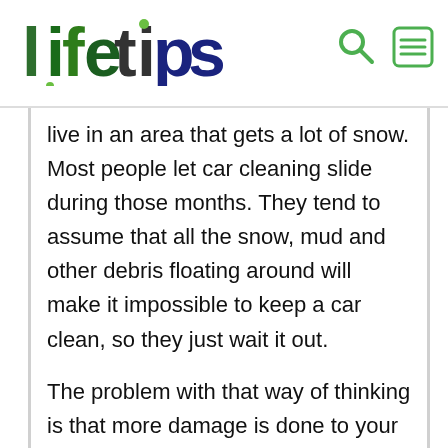lifetips
live in an area that gets a lot of snow. Most people let car cleaning slide during those months. They tend to assume that all the snow, mud and other debris floating around will make it impossible to keep a car clean, so they just wait it out.
The problem with that way of thinking is that more damage is done to your car this way. For one thing, salt dropped on the roads is corrosive to both your paint job